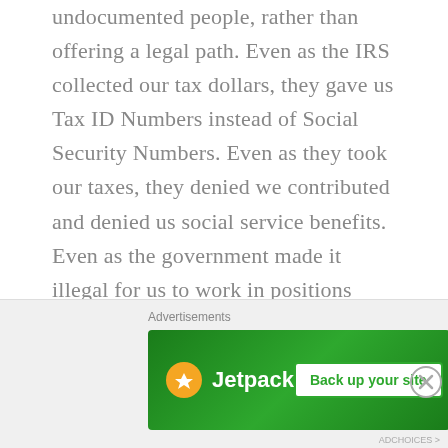undocumented people, rather than offering a legal path. Even as the IRS collected our tax dollars, they gave us Tax ID Numbers instead of Social Security Numbers. Even as they took our taxes, they denied we contributed and denied us social service benefits. Even as the government made it illegal for us to work in positions undesirable to American citizens, no attempts were made to hold accountable the people hiring us to do those jobs, and then vilified us, saying we were taking jobs from Americans. Even as they put us through application hell— passing us from one department of USCIS to another, asking us to send the same documents again and provide the same information, requiring hundreds of dollars in
[Figure (other): Jetpack advertisement banner with green background, Jetpack logo on left and 'Back up your site' button on right]